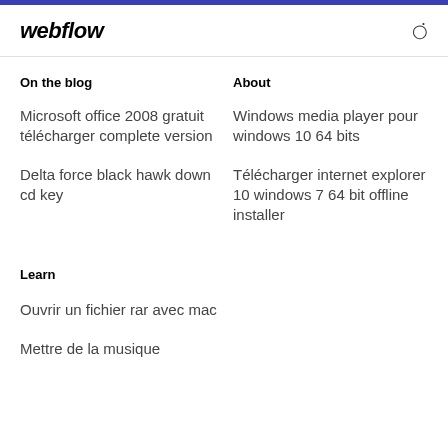webflow
On the blog
About
Microsoft office 2008 gratuit télécharger complete version
Windows media player pour windows 10 64 bits
Delta force black hawk down cd key
Télécharger internet explorer 10 windows 7 64 bit offline installer
Learn
Ouvrir un fichier rar avec mac
Mettre de la musique